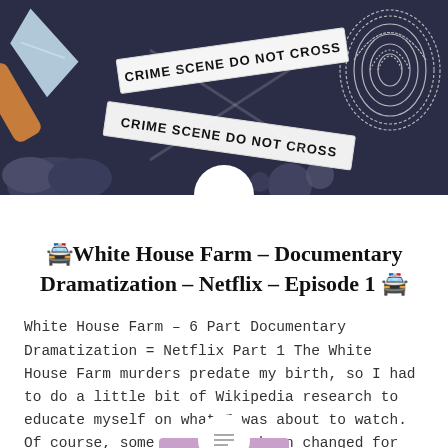[Figure (illustration): Crime scene illustration on dark navy background with crossed police tape reading 'CRIME SCENE DO NOT CROSS', a hand holding a knife on the left, a fingerprint on the upper right, and decorative grey cloud shapes at the bottom.]
🚔White House Farm – Documentary Dramatization – Netflix – Episode 1 🚔
White House Farm – 6 Part Documentary Dramatization = Netflix Part 1 The White House Farm murders predate my birth, so I had to do a little bit of Wikipedia research to educate myself on what I was about to watch. Of course, some names have been changed for this series and some scenes and…